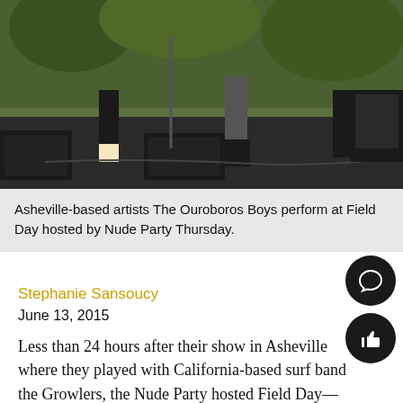[Figure (photo): Band performing on stage outdoors, showing legs and equipment of musicians at Field Day event]
Asheville-based artists The Ouroboros Boys perform at Field Day hosted by Nude Party Thursday.
Stephanie Sansoucy
June 13, 2015
Less than 24 hours after their show in Asheville where they played with California-based surf band the Growlers, the Nude Party hosted Field Day—an invitation-only music mini-festival in their backyard Thursday.
“All of our friends from around the state came hang out for one day,” Nude Party keyboardist